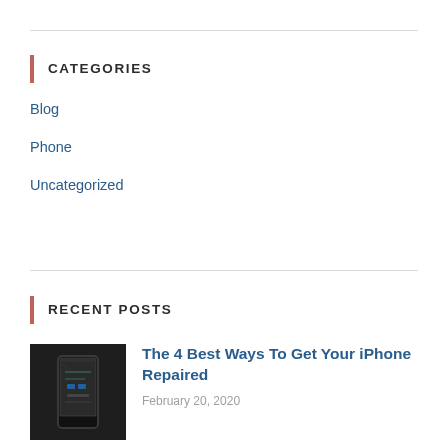CATEGORIES
Blog
Phone
Uncategorized
RECENT POSTS
[Figure (photo): A damaged smartphone with its screen partially separated from the body, placed on a dark background]
The 4 Best Ways To Get Your iPhone Repaired
February 20, 2020